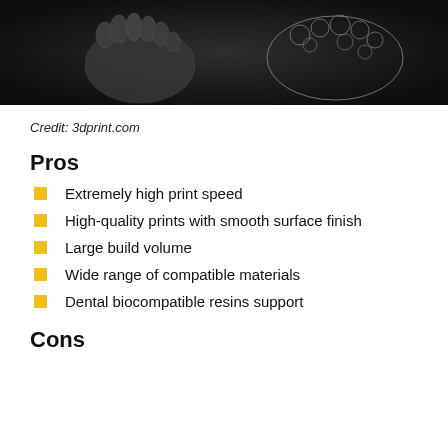[Figure (photo): Dark background photo showing 3D printed dental models and aligners]
Credit: 3dprint.com
Pros
Extremely high print speed
High-quality prints with smooth surface finish
Large build volume
Wide range of compatible materials
Dental biocompatible resins support
Cons